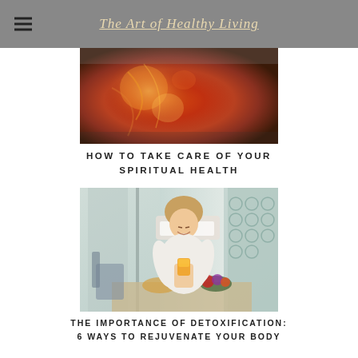The Art of Healthy Living
[Figure (photo): Abstract warm-toned artistic image with swirling red, orange and golden colors, possibly a fisheye or lens-ball photograph of a natural scene]
HOW TO TAKE CARE OF YOUR SPIRITUAL HEALTH
[Figure (photo): A smiling blonde woman in a white robe holding an orange juice glass, sitting at a table with fruit and breakfast items in an elegant room]
THE IMPORTANCE OF DETOXIFICATION: 6 WAYS TO REJUVENATE YOUR BODY